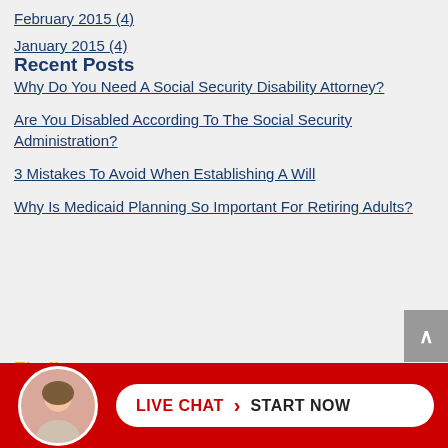February 2015 (4)
January 2015 (4)
Recent Posts
Why Do You Need A Social Security Disability Attorney?
Are You Disabled According To The Social Security Administration?
3 Mistakes To Avoid When Establishing A Will
Why Is Medicaid Planning So Important For Retiring Adults?
FindLaw. Network
LIVE CHAT › START NOW